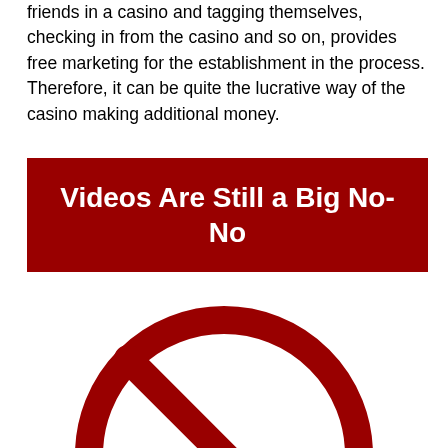friends in a casino and tagging themselves, checking in from the casino and so on, provides free marketing for the establishment in the process. Therefore, it can be quite the lucrative way of the casino making additional money.
Videos Are Still a Big No-No
[Figure (illustration): A red prohibition/no symbol (circle with diagonal line through it) on a white background]